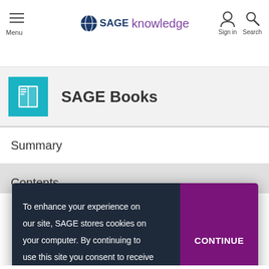Menu | SAGE knowledge | Sign in | Search
SAGE Books
Summary
Contents
To enhance your experience on our site, SAGE stores cookies on your computer. By continuing to use this site you consent to receive cookies. Learn more.